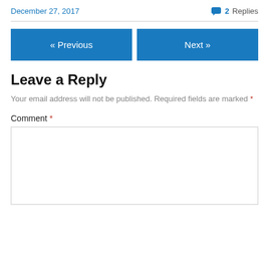December 27, 2017    💬 2 Replies
« Previous   Next »
Leave a Reply
Your email address will not be published. Required fields are marked *
Comment *